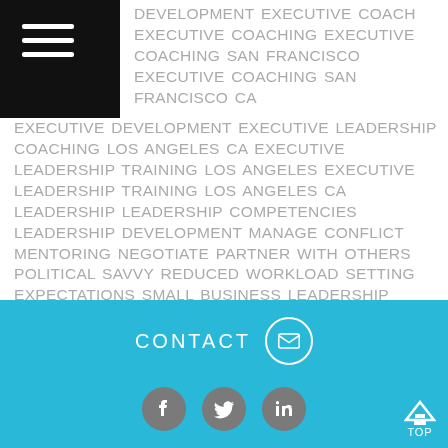DEVELOPMENT EXECUTIVE COACH EXECUTIVE COACHING EXECUTIVE COACHING SAN FRANCISCO EXECUTIVE COACHING SAN FRANCISCO CA EXECUTIVE DEVELOPMENT EXECUTIVE LEADERSHIP COACHING LOS ANGELES CA EXECUTIVE LEADERSHIP TRAINING LOS ANGELES EXECUTIVE LEADERSHIP TRAINING LOS ANGELES CA LEADERSHIP LEADERSHIP COMPETENCIES LEADERSHIP DEVELOPMENT MANAGE CONFLICT MENTORING NEGOTIATE PARTNER WITH OTHERS POLITICAL SAVVY REDUCED WORKLOAD SETTING EXPECTATIONS SMALL BUSINESS LEADERSHIP COACHING SUCCESSION PLANNING TEAM BUILDING THOMAS-KILMANN TKI WIN-WIN WORK/LIFE BALANCE
CONTACT | social icons (Facebook, Twitter, LinkedIn) | TOP